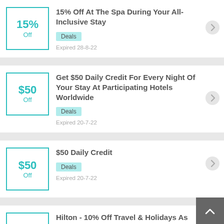[Figure (other): Deal card: 15% Off badge with teal border]
15% Off At The Spa During Your All-Inclusive Stay
Deals
Expired 28-8-22
[Figure (other): Deal card: $50 Off badge with teal border]
Get $50 Daily Credit For Every Night Of Your Stay At Participating Hotels Worldwide
Deals
Expired 20-7-22
[Figure (other): Deal card: $50 Off badge with teal border]
$50 Daily Credit
Deals
Expired 20-7-22
[Figure (other): Deal card: 10% Off badge with teal border]
Hilton - 10% Off Travel & Holidays As Much As 2 Days